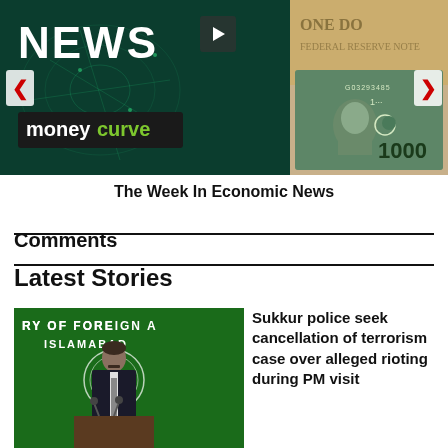[Figure (screenshot): News carousel showing two panels: left panel is a dark teal/green background with 'NEWS' text in white and a moneycurve logo; right panel shows Pakistani currency notes including a 1000 rupee note and US dollar bills. Navigation arrows on left and right sides. Play button in top center.]
The Week In Economic News
Comments
Latest Stories
[Figure (photo): Photo of a man in dark suit at a podium with microphones, in front of a green backdrop reading 'RY OF FOREIGN A ISLAMABAD']
Sukkur police seek cancellation of terrorism case over alleged rioting during PM visit